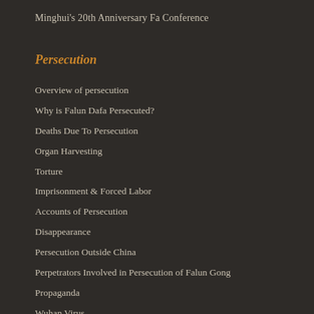Minghui's 20th Anniversary Fa Conference
Persecution
Overview of persecution
Why is Falun Dafa Persecuted?
Deaths Due To Persecution
Organ Harvesting
Torture
Imprisonment & Forced Labor
Accounts of Persecution
Disappearance
Persecution Outside China
Perpetrators Involved in Persecution of Falun Gong
Propaganda
Wuhan Virus